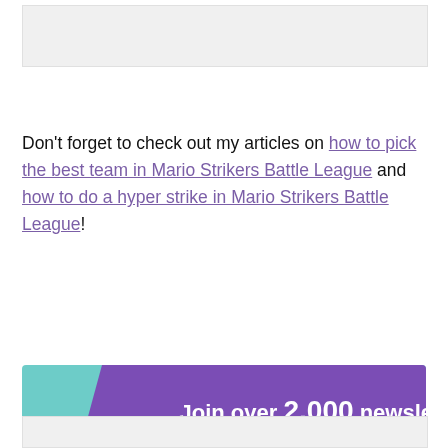[Figure (other): Top image placeholder / banner area]
Don't forget to check out my articles on how to pick the best team in Mario Strikers Battle League and how to do a hyper strike in Mario Strikers Battle League!
[Figure (infographic): Newsletter signup banner: Join over 2,000 newsletter community members! - Monthly news/product updates - Giveaways/Discounts - Behind the scenes - Early access to content. SIGN UP HERE button. Features a purple bird mascot holding an envelope on a teal/purple diagonal background.]
[Figure (other): Bottom partial image placeholder]